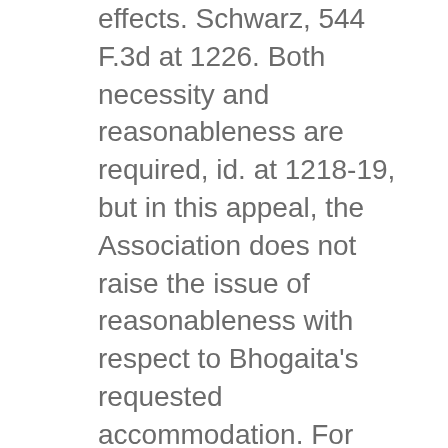effects. Schwarz, 544 F.3d at 1226. Both necessity and reasonableness are required, id. at 1218-19, but in this appeal, the Association does not raise the issue of reasonableness with respect to Bhogaita's requested accommodation. For that reason, we do not engage in the “highly fact-specific” reasonableness inquiry, which would require a balancing of the parties’ needs. Oconomowoc, 300 F.3d at 784. The question we address is a different, more limited one: whether Bhogaita offered sufficient evidence that having the dog would affirmatively enhance his quality of life by ameliorating the effects of his disability.